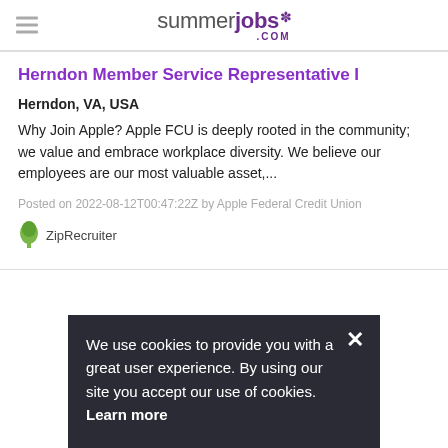summerjobs.com
Herndon Member Service Representative I
Herndon, VA, USA
Why Join Apple? Apple FCU is deeply rooted in the community; we value and embrace workplace diversity. We believe our employees are our most valuable asset,...
Posted on 2022-08-12T00:47:22Z by Apple Federal Credit Union
[Figure (logo): ZipRecruiter logo with green tree icon and text 'ZipRecruiter']
We use cookies to provide you with a great user experience. By using our site you accept our use of cookies. Learn more